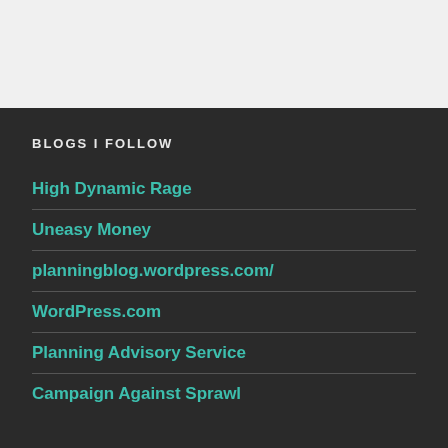BLOGS I FOLLOW
High Dynamic Rage
Uneasy Money
planningblog.wordpress.com/
WordPress.com
Planning Advisory Service
Campaign Against Sprawl